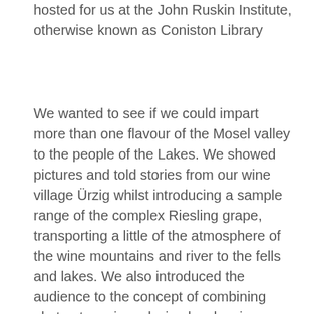hosted for us at the John Ruskin Institute, otherwise known as Coniston Library
We wanted to see if we could impart more than one flavour of the Mosel valley to the people of the Lakes. We showed pictures and told stories from our wine village Ürzig whilst introducing a sample range of the complex Riesling grape, transporting a little of the atmosphere of the wine mountains and river to the fells and lakes. We also introduced the audience to the concept of combining abstract music and wine by showing an excerpt of our Vinosonic concert at the Mosel. The Grizedale team provided excellent stew and dumplings which were the perfect damp autumn accompaniment. Comparing the two contrasting locations of rural German wine country and the Lake District we unearthed parallels that bond the regions, such as the slate rock which heavily influences both